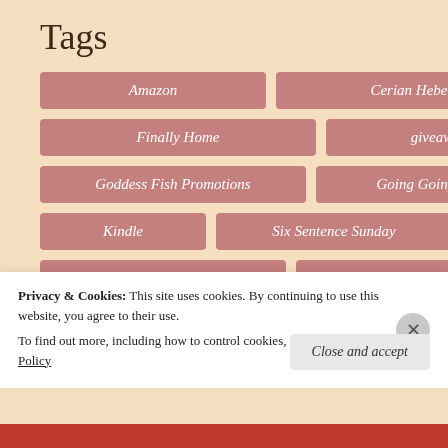Tags
Amazon
Cerian Hebert
contest
Finally Home
giveaway
Goddess Fish Promotions
Going Going Gone
Kindle
Six Sentence Sunday
Soul Mate Publishing
Still Moments Publishing
Sweet and Wild
THAT KIND OF MAGIC
Privacy & Cookies: This site uses cookies. By continuing to use this website, you agree to their use. To find out more, including how to control cookies, see here: Cookie Policy
Close and accept